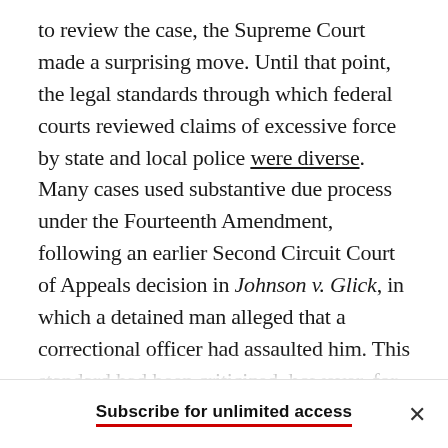to review the case, the Supreme Court made a surprising move. Until that point, the legal standards through which federal courts reviewed claims of excessive force by state and local police were diverse. Many cases used substantive due process under the Fourteenth Amendment, following an earlier Second Circuit Court of Appeals decision in Johnson v. Glick, in which a detained man alleged that a correctional officer had assaulted him. This standard had been criticized, however, for emphasizing officers' subjective mental state—that is, whether the force was applied
Subscribe for unlimited access